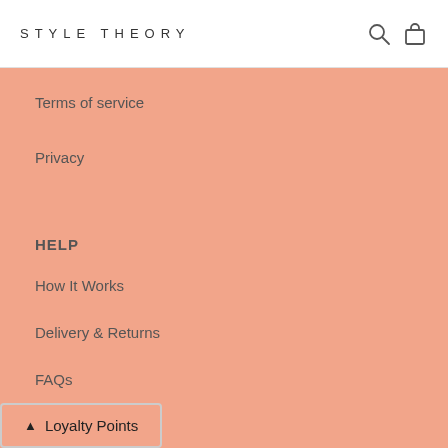STYLE THEORY
Terms of service
Privacy
HELP
How It Works
Delivery & Returns
FAQs
Loyalty Points